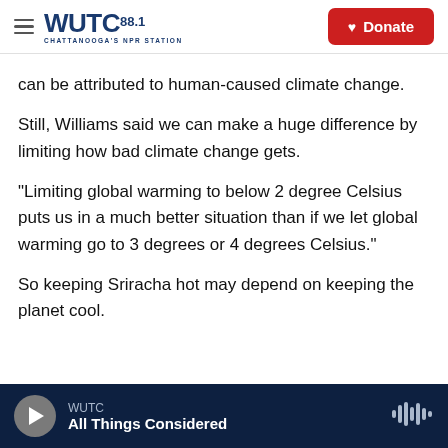WUTC 88.1 CHATTANOOGA'S NPR STATION | Donate
can be attributed to human-caused climate change.
Still, Williams said we can make a huge difference by limiting how bad climate change gets.
"Limiting global warming to below 2 degree Celsius puts us in a much better situation than if we let global warming go to 3 degrees or 4 degrees Celsius."
So keeping Sriracha hot may depend on keeping the planet cool.
WUTC | All Things Considered